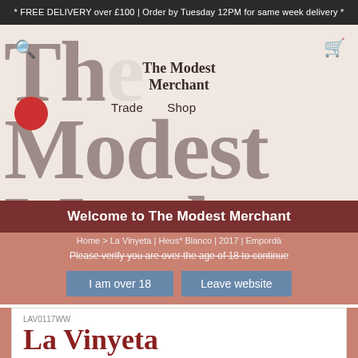* FREE DELIVERY over £100 | Order by Tuesday 12PM for same week delivery *
[Figure (logo): The Modest Merchant website header with large serif font background text 'The Modest Merchant', search icon, cart icon, red circle logo, centered overlay logo, and navigation items Trade and Shop]
Welcome to The Modest Merchant
Home > La Vinyeta | Heus* Blanco | 2017 | Empordà
Please verify you are over the age of 18 to continue
I am over 18
Leave website
LAV0117WW
La Vinyeta Heus* Blanco 2017